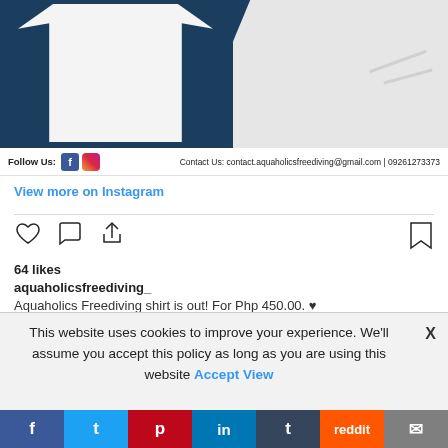[Figure (photo): White t-shirts laid flat on a dark blue wooden surface, showing front and back views]
Follow Us:   [Facebook icon] [Instagram icon]   Contact Us: contact.aquaholicsfreediving@gmail.com | 09261273373
View more on Instagram
64 likes
aquaholicsfreediving_
Aquaholics Freediving shirt is out! For Php 450.00. ♥
This website uses cookies to improve your experience. We'll assume you accept this policy as long as you are using this website  Accept  View
f  t  p  in  t  reddit  mail